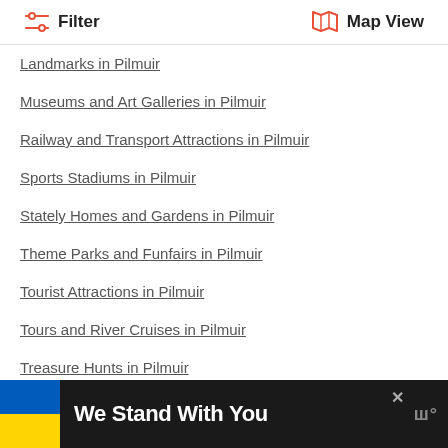Filter  Map View
Landmarks in Pilmuir
Museums and Art Galleries in Pilmuir
Railway and Transport Attractions in Pilmuir
Sports Stadiums in Pilmuir
Stately Homes and Gardens in Pilmuir
Theme Parks and Funfairs in Pilmuir
Tourist Attractions in Pilmuir
Tours and River Cruises in Pilmuir
Treasure Hunts in Pilmuir
Sports and Activities Attractions in Pilmuir
Arcades and Gaming Cafes in Pilmuir
Arts and Crafts in Pilmuir
[Figure (infographic): We Stand With You advertisement banner with Ukrainian flag colors (blue and yellow) on dark background]